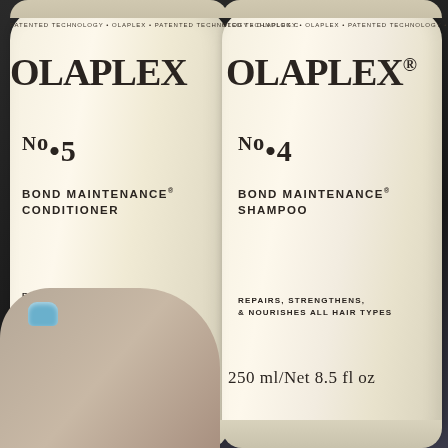[Figure (photo): Two Olaplex hair care product bottles held by a hand with blue nail polish. Left bottle is Olaplex No.5 Bond Maintenance Conditioner 250ml/Net 8.5 fl oz. Right bottle is Olaplex No.4 Bond Maintenance Shampoo 250ml/Net 8.5 fl oz. Both bottles are cream/off-white colored with dark text labels. Background is dark.]